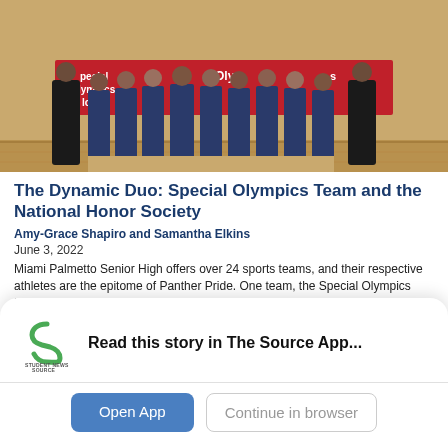[Figure (photo): Group photo of students in navy shorts and tops standing in front of a Special Olympics Florida banner on a gymnasium court.]
The Dynamic Duo: Special Olympics Team and the National Honor Society
Amy-Grace Shapiro and Samantha Elkins
June 3, 2022
Miami Palmetto Senior High offers over 24 sports teams, and their respective athletes are the epitome of Panther Pride. One team, the Special Olympics Unified Sports team,…
[Figure (photo): Thumbnail cover of The Panther 2021-2022 Issue 7 showing group of students.]
The Panther 2021-2022 Issue 7: Class of 2022 Onto New Horizons
[Figure (logo): Student News Source app logo — green S-shaped icon with text STUDENT NEWS SOURCE below.]
Read this story in The Source App...
Open App
Continue in browser